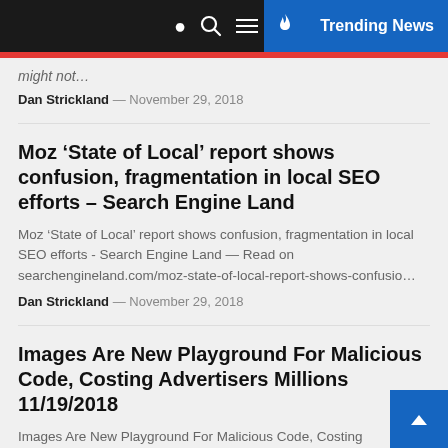Trending News
might not…
Dan Strickland — November 29, 2018
Moz 'State of Local' report shows confusion, fragmentation in local SEO efforts – Search Engine Land
Moz 'State of Local' report shows confusion, fragmentation in local SEO efforts - Search Engine Land — Read on searchengineland.com/moz-state-of-local-report-shows-confusio…
Dan Strickland — November 29, 2018
Images Are New Playground For Malicious Code, Costing Advertisers Millions 11/19/2018
Images Are New Playground For Malicious Code, Costing Advertisers Millions - 11/19/2018 — Read on